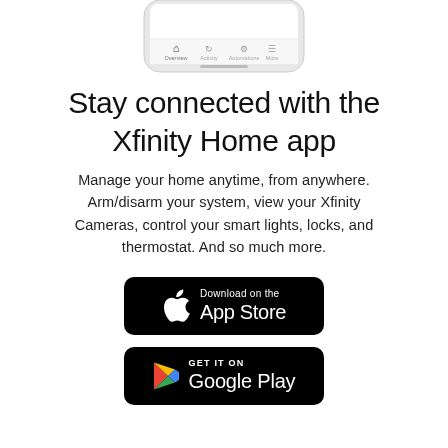[Figure (screenshot): Bottom portion of a smartphone showing the Xfinity Home app navigation bar with Home, Activity, Automations, and More tabs]
Stay connected with the Xfinity Home app
Manage your home anytime, from anywhere. Arm/disarm your system, view your Xfinity Cameras, control your smart lights, locks, and thermostat. And so much more.
[Figure (logo): Download on the App Store button (black, rounded rectangle) with Apple logo]
[Figure (logo): Get it on Google Play button (black, rounded rectangle) with Google Play triangle logo]